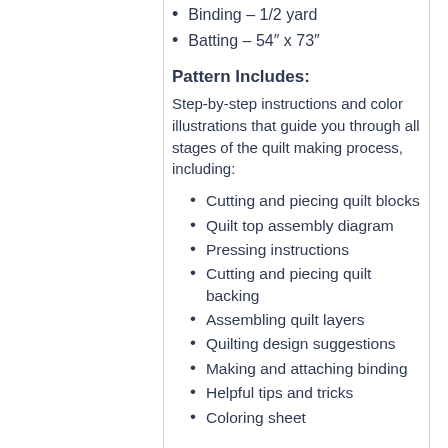Binding – 1/2 yard
Batting – 54″ x 73″
Pattern Includes:
Step-by-step instructions and color illustrations that guide you through all stages of the quilt making process, including:
Cutting and piecing quilt blocks
Quilt top assembly diagram
Pressing instructions
Cutting and piecing quilt backing
Assembling quilt layers
Quilting design suggestions
Making and attaching binding
Helpful tips and tricks
Coloring sheet